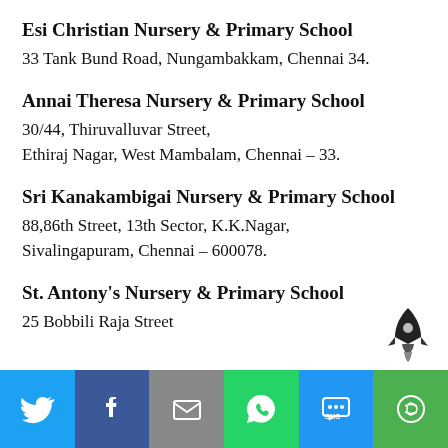Esi Christian Nursery & Primary School
33 Tank Bund Road, Nungambakkam, Chennai 34.
Annai Theresa Nursery & Primary School
30/44, Thiruvalluvar Street,
Ethiraj Nagar, West Mambalam, Chennai – 33.
Sri Kanakambigai Nursery & Primary School
88,86th Street, 13th Sector, K.K.Nagar,
Sivalingapuram, Chennai – 600078.
St. Antony's Nursery & Primary School
25 Bobbili Raja Street
[Figure (infographic): Social sharing bar at bottom with Twitter, Facebook, Email, WhatsApp, SMS, and More buttons, plus a rocket icon above the bar on the right side.]